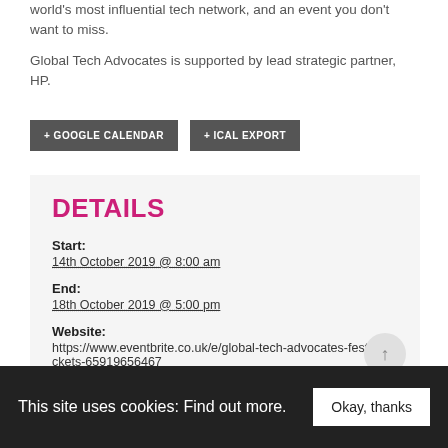world's most influential tech network, and an event you don't want to miss.
Global Tech Advocates is supported by lead strategic partner, HP.
+ GOOGLE CALENDAR
+ ICAL EXPORT
DETAILS
Start:
14th October 2019 @ 8:00 am
End:
18th October 2019 @ 5:00 pm
Website:
https://www.eventbrite.co.uk/e/global-tech-advocates-festival-tickets-65919656467
This site uses cookies: Find out more.
Okay, thanks